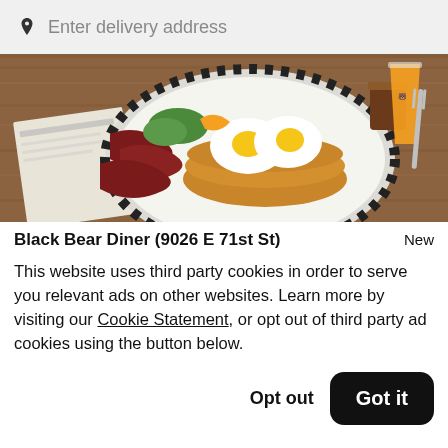Enter delivery address
[Figure (photo): Breakfast plate with fried eggs on pancakes, bacon, and garnishes, alongside orange juice and Black Bear Diner branded cups on a wooden table.]
Black Bear Diner (9026 E 71st St)
This website uses third party cookies in order to serve you relevant ads on other websites. Learn more by visiting our Cookie Statement, or opt out of third party ad cookies using the button below.
Opt out
Got it